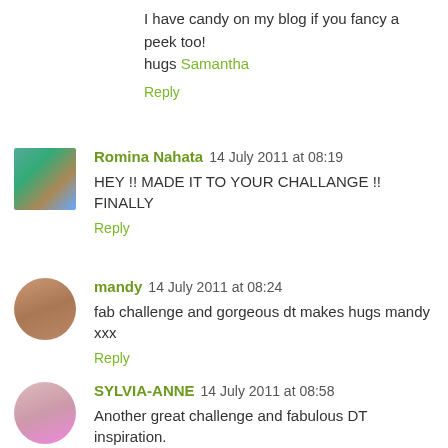I have candy on my blog if you fancy a peek too! hugs Samantha
Reply
Romina Nahata 14 July 2011 at 08:19
HEY !! MADE IT TO YOUR CHALLANGE !! FINALLY
Reply
mandy 14 July 2011 at 08:24
fab challenge and gorgeous dt makes hugs mandy xxx
Reply
SYLVIA-ANNE 14 July 2011 at 08:58
Another great challenge and fabulous DT inspiration. Sylvia x